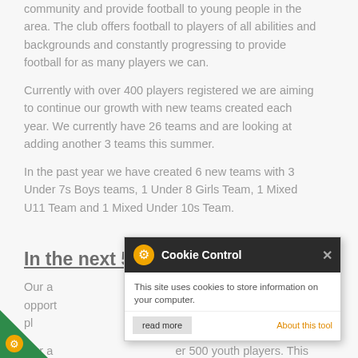community and provide football to young people in the area. The club offers football to players of all abilities and backgrounds and constantly progressing to provide football for as many players we can.
Currently with over 400 players registered we are aiming to continue our growth with new teams created each year. We currently have 26 teams and are looking at adding another 3 teams this summer.
In the past year we have created 6 new teams with 3 Under 7s Boys teams, 1 Under 8 Girls Team, 1 Mixed U11 Team and 1 Mixed Under 10s Team.
In the next 5 Years
Our a... oviding the best opport... and enjoyment to our pl...
Our a... er 500 youth players. This is... are well on the way towards.
[Figure (screenshot): Cookie Control popup overlay with dark header showing gear icon and 'Cookie Control' title with X close button, body text 'This site uses cookies to store information on your computer.', footer with 'read more' button and 'About this tool' orange link]
[Figure (logo): Bottom-left corner green triangle badge with white gear/cookie icon]